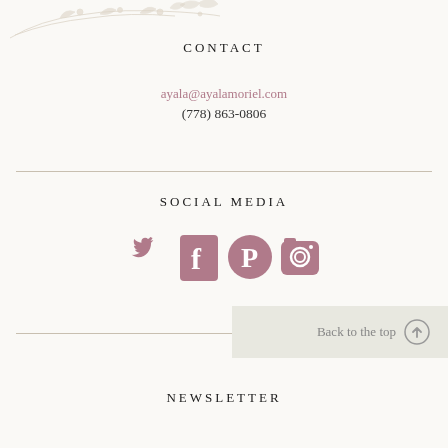[Figure (illustration): Decorative floral line art in light beige/cream tones at top left corner]
CONTACT
ayala@ayalamoriel.com
(778) 863-0806
SOCIAL MEDIA
[Figure (illustration): Four social media icons: Twitter bird, Facebook f, Pinterest p, Instagram camera — all in dusty rose/mauve color]
Back to the top
NEWSLETTER